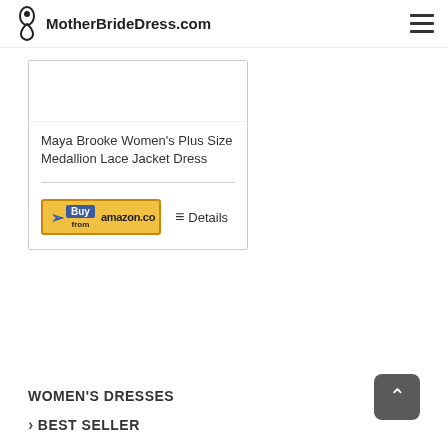MotherBrideDress.com
Maya Brooke Women's Plus Size Medallion Lace Jacket Dress
[Figure (logo): Buy from amazon.com button]
Details
WOMEN'S DRESSES
BEST SELLER